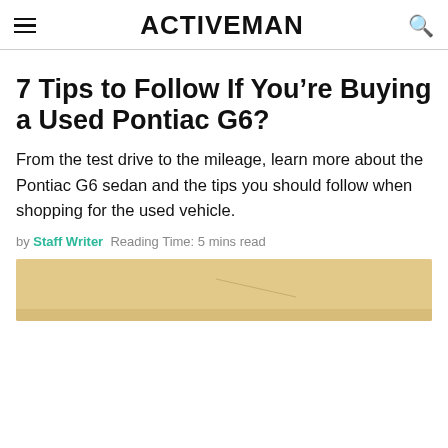ACTIVEMAN
7 Tips to Follow If You’re Buying a Used Pontiac G6?
From the test drive to the mileage, learn more about the Pontiac G6 sedan and the tips you should follow when shopping for the used vehicle.
by Staff Writer  Reading Time: 5 mins read
[Figure (photo): Partial image of a car or road, light beige/tan colored, at the bottom of the page]